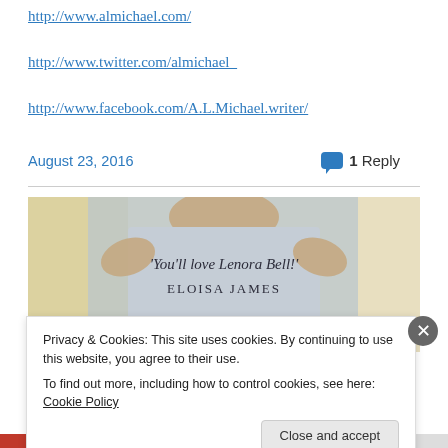http://www.almichael.com/
http://www.twitter.com/almichael_
http://www.facebook.com/A.L.Michael.writer/
August 23, 2016   1 Reply
[Figure (photo): Book cover image with text: 'You'll love Lenora Bell!' Eloisa James]
Privacy & Cookies: This site uses cookies. By continuing to use this website, you agree to their use.
To find out more, including how to control cookies, see here: Cookie Policy
Close and accept